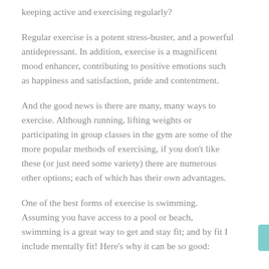keeping active and exercising regularly?
Regular exercise is a potent stress-buster, and a powerful antidepressant. In addition, exercise is a magnificent mood enhancer, contributing to positive emotions such as happiness and satisfaction, pride and contentment.
And the good news is there are many, many ways to exercise. Although running, lifting weights or participating in group classes in the gym are some of the more popular methods of exercising, if you don’t like these (or just need some variety) there are numerous other options; each of which has their own advantages.
One of the best forms of exercise is swimming. Assuming you have access to a pool or beach, swimming is a great way to get and stay fit; and by fit I include mentally fit! Here’s why it can be so good: